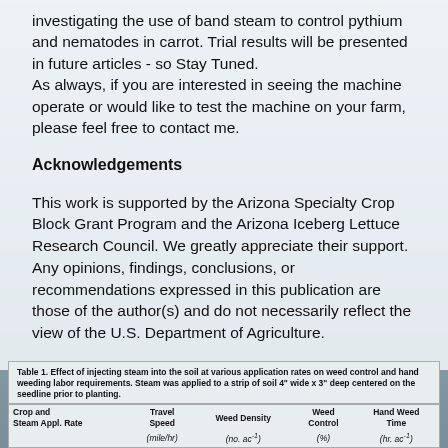investigating the use of band steam to control pythium and nematodes in carrot. Trial results will be presented in future articles - so Stay Tuned.
As always, if you are interested in seeing the machine operate or would like to test the machine on your farm, please feel free to contact me.
Acknowledgements
This work is supported by the Arizona Specialty Crop Block Grant Program and the Arizona Iceberg Lettuce Research Council. We greatly appreciate their support. Any opinions, findings, conclusions, or recommendations expressed in this publication are those of the author(s) and do not necessarily reflect the view of the U.S. Department of Agriculture.
Table 1. Effect of injecting steam into the soil at various application rates on weed control and hand weeding labor requirements. Steam was applied to a strip of soil 4" wide x 3" deep centered on the seedline prior to planting.
| Crop and
Steam Appl. Rate | Travel
Speed | Weed Density | Weed
Control | Hand Weed
Time |
| --- | --- | --- | --- | --- |
|  | (mile/hr) | (no. ac⁻¹) | (%) | (hr. ac⁻¹) |